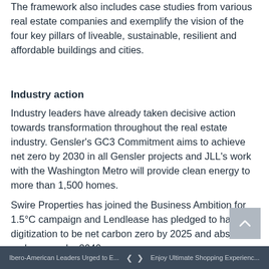The framework also includes case studies from various real estate companies and exemplify the vision of the four key pillars of liveable, sustainable, resilient and affordable buildings and cities.
Industry action
Industry leaders have already taken decisive action towards transformation throughout the real estate industry. Gensler's GC3 Commitment aims to achieve net zero by 2030 in all Gensler projects and JLL's work with the Washington Metro will provide clean energy to more than 1,500 homes.
Swire Properties has joined the Business Ambition for 1.5°C campaign and Lendlease has pledged to harness digitization to be net carbon zero by 2025 and absolute carbon zero by 2040.
Majid Al Futtaim has become the first and only
Ibero-American Leaders Urged to E...   ❮  ❯   Enjoy Ultimate Shopping Experienc...